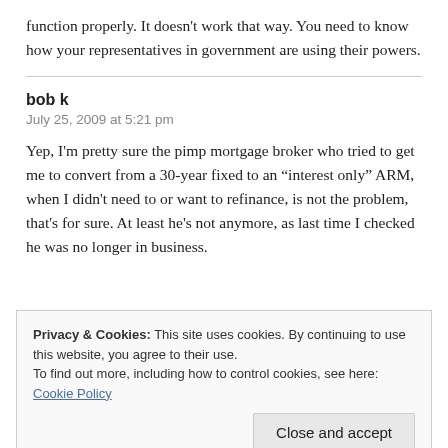function properly. It doesn't work that way. You need to know how your representatives in government are using their powers.
bob k
July 25, 2009 at 5:21 pm
Yep, I'm pretty sure the pimp mortgage broker who tried to get me to convert from a 30-year fixed to an "interest only" ARM, when I didn't need to or want to refinance, is not the problem, that's for sure. At least he's not anymore, as last time I checked he was no longer in business.
Privacy & Cookies: This site uses cookies. By continuing to use this website, you agree to their use. To find out more, including how to control cookies, see here: Cookie Policy
Close and accept
Reply to this comment but how do I find out how to do it